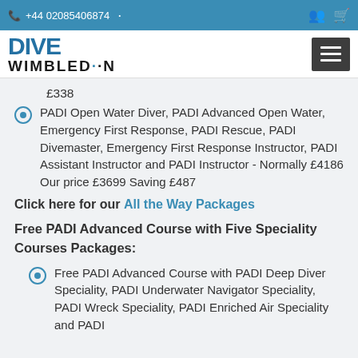+44 02085406874
[Figure (logo): Dive Wimbledon logo with stylized text]
£338
PADI Open Water Diver, PADI Advanced Open Water, Emergency First Response, PADI Rescue, PADI Divemaster, Emergency First Response Instructor, PADI Assistant Instructor and PADI Instructor - Normally £4186 Our price £3699 Saving £487
Click here for our All the Way Packages
Free PADI Advanced Course with Five Speciality Courses Packages:
Free PADI Advanced Course with PADI Deep Diver Speciality, PADI Underwater Navigator Speciality, PADI Wreck Speciality, PADI Enriched Air Speciality and PADI